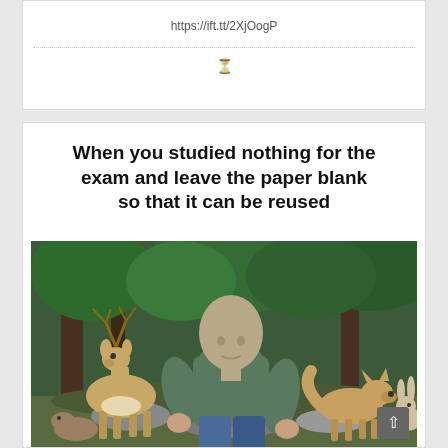https://ift.tt/2XjOogP
[Figure (photo): Meme image: person with stone/bald head sitting among wild animals (deer, coyote, rabbit) in a forest setting. Text above reads: When you studied nothing for the exam and leave the paper blank so that it can be reused]
When you studied nothing for the exam and leave the paper blank so that it can be reused